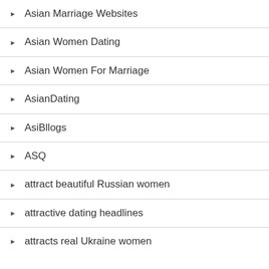Asian Marriage Websites
Asian Women Dating
Asian Women For Marriage
AsianDating
AsiBllogs
ASQ
attract beautiful Russian women
attractive dating headlines
attracts real Ukraine women